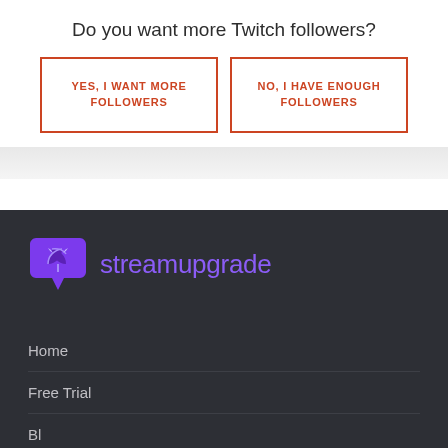Do you want more Twitch followers?
YES, I WANT MORE FOLLOWERS
NO, I HAVE ENOUGH FOLLOWERS
[Figure (logo): Streamupgrade logo with purple speech bubble / shield icon and text 'streamupgrade' in purple]
Home
Free Trial
Blog